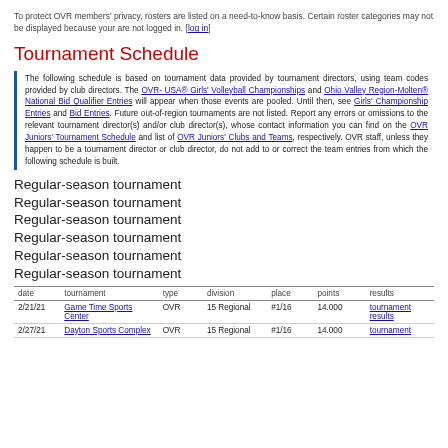To protect OVR members' privacy, rosters are listed on a need-to-know basis. Certain roster categories may not be displayed because your are not logged in. [log in]
Tournament Schedule
The following schedule is based on tournament data provided by tournament directors, using team codes provided by club directors. The OVR- USA® Girls' Volleyball Championships and Ohio Valley Region-Molten® National Bid Qualifier Entries will appear when those events are pooled. Until then, see Girls' Championship Entries and Bid Entries. Future out-of-region tournaments are not listed. Report any errors or omissions to the relevant tournament director(s) and/or club director(s), whose contact information you can find on the OVR Juniors' Tournament Schedule and list of OVR Juniors' Clubs and Teams, respectively. OVR staff, unless they happen to be a tournament director or club director, do not add to or correct the team entries from which the following schedule is built.
Regular-season tournament
Regular-season tournament
Regular-season tournament
Regular-season tournament
Regular-season tournament
Regular-season tournament
| date | tournament | type | division | place | points | results |
| --- | --- | --- | --- | --- | --- | --- |
| 2/21/21 | Game Time Sports Center | OVR | 15 Regional | #1/16 | 14.000 | tournament results |
| 2/27/21 | Dayton Sports Complex | OVR | 15 Regional | #1/16 | 14.000 | tournament results |